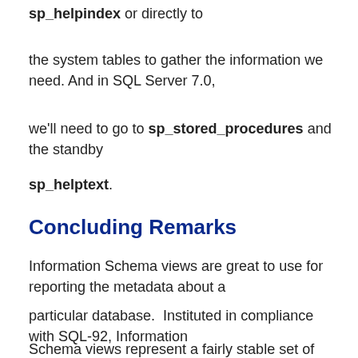sp_helpindex or directly to
the system tables to gather the information we need. And in SQL Server 7.0,
we'll need to go to sp_stored_procedures and the standby
sp_helptext.
Concluding Remarks
Information Schema views are great to use for reporting the metadata about a
particular database.  Instituted in compliance with SQL-92, Information
Schema views represent a fairly stable set of views to use for this